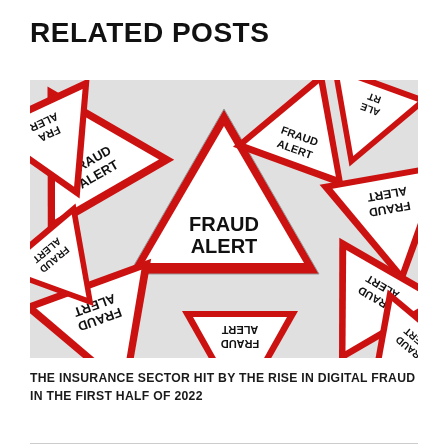RELATED POSTS
[Figure (photo): A pile of triangular warning road signs with red borders and white backgrounds, all reading 'FRAUD ALERT' in bold black text, arranged in various orientations and overlapping each other.]
THE INSURANCE SECTOR HIT BY THE RISE IN DIGITAL FRAUD IN THE FIRST HALF OF 2022